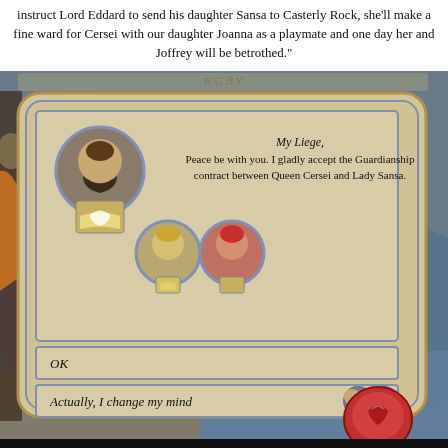instruct Lord Eddard to send his daughter Sansa to Casterly Rock, she'll make a fine ward for Cersei with our daughter Joanna as a playmate and one day her and Joffrey will be betrothed."
[Figure (screenshot): A Crusader Kings II game screenshot showing a guardianship contract dialog. A parchment scroll UI element contains a message: 'My Liege, Peace be with you. I gladly accept the Guardianship contract between Queen Cersei and Lady Sansa.' with character portrait avatars on the left (a bearded man and two smaller female portraits). Below are two dialog buttons: 'OK' and 'Actually, I change my mind' with portrait icons. A red wax seal with a dragon emblem is visible at the bottom right.]